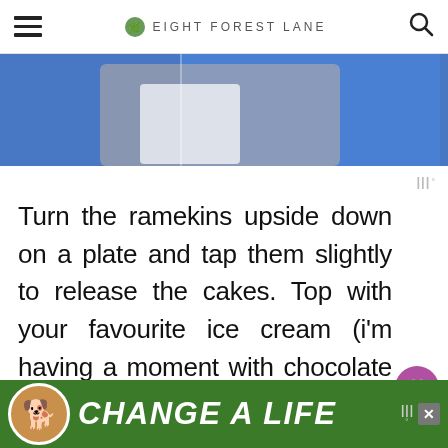EIGHT FOREST LANE
[Figure (photo): Partial photo of person with baked goods against blue background]
Turn the ramekins upside down on a plate and tap them slightly to release the cakes. Top with your favourite ice cream (i'm having a moment with chocolate soy) and enjoy straight away while they are still warm.
[Figure (photo): Advertisement banner showing a dog with text CHANGE A LIFE on green background]